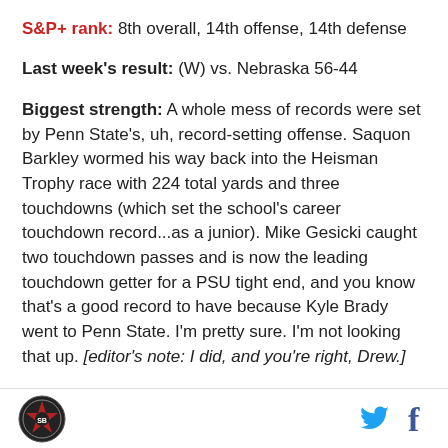S&P+ rank: 8th overall, 14th offense, 14th defense
Last week's result: (W) vs. Nebraska 56-44
Biggest strength: A whole mess of records were set by Penn State's, uh, record-setting offense. Saquon Barkley wormed his way back into the Heisman Trophy race with 224 total yards and three touchdowns (which set the school's career touchdown record...as a junior). Mike Gesicki caught two touchdown passes and is now the leading touchdown getter for a PSU tight end, and you know that's a good record to have because Kyle Brady went to Penn State. I'm pretty sure. I'm not looking that up. [editor's note: I did, and you're right, Drew.]
Logo | Twitter | Facebook